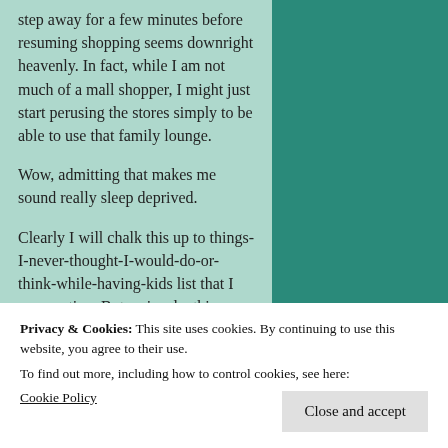step away for a few minutes before resuming shopping seems downright heavenly. In fact, while I am not much of a mall shopper, I might just start perusing the stores simply to be able to use that family lounge.
Wow, admitting that makes me sound really sleep deprived.
Clearly I will chalk this up to things-I-never-thought-I-would-do-or-think-while-having-kids list that I am creating. But seriously, this whole new world of things catering toward parents
Privacy & Cookies: This site uses cookies. By continuing to use this website, you agree to their use.
To find out more, including how to control cookies, see here: Cookie Policy